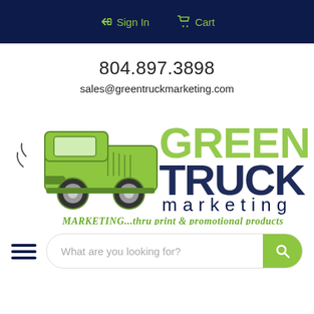Sign In  Cart
804.897.3898
sales@greentruckmarketing.com
[Figure (logo): Green Truck Marketing logo featuring a vintage green pickup truck illustration on the left and the text 'GREEN TRUCK marketing' with the tagline 'MARKETING...thru print & promotional products' on the right. 'GREEN' is in light green distressed font, 'TRUCK' is in dark navy distressed font, 'marketing' is in smaller dark navy letters, and the tagline is in green italic text.]
What are you looking for?